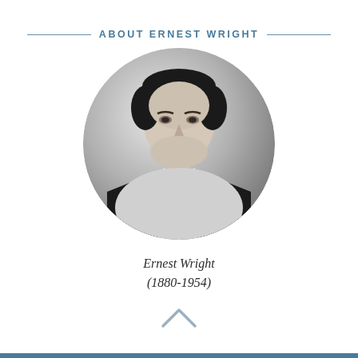ABOUT ERNEST WRIGHT
[Figure (photo): Circular black-and-white portrait photograph of Ernest Wright, a man with a mustache wearing a dark suit and tie, circa early 20th century.]
Ernest Wright
(1880-1954)